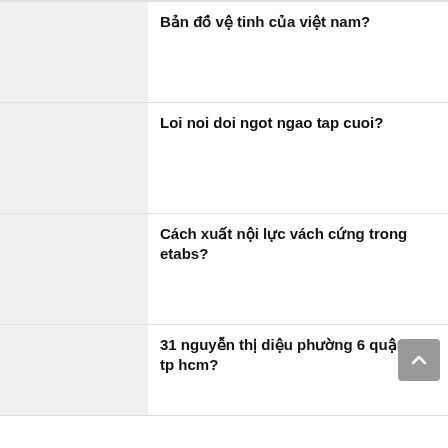Bản đồ vệ tinh của việt nam?
Loi noi doi ngot ngao tap cuoi?
Cách xuất nội lực vách cứng trong etabs?
31 nguyễn thị diệu phường 6 quận 3 tp hcm?